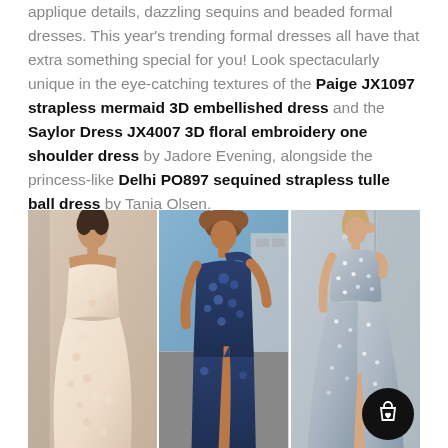applique details, dazzling sequins and beaded formal dresses. This year's trending formal dresses all have that extra something special for you! Look spectacularly unique in the eye-catching textures of the Paige JX1097 strapless mermaid 3D embellished dress and the Saylor Dress JX4007 3D floral embroidery one shoulder dress by Jadore Evening, alongside the princess-like Delhi PO897 sequined strapless tulle ball dress by Tania Olsen.
[Figure (photo): Three formal dress models side by side: left - woman in a strapless blush/champagne 3D embellished mermaid gown; center - woman in a navy blue one-shoulder 3D floral embroidery dress with thigh-high slit; right - woman in a silver sequined strapless ball gown. A black circular shopping cart button with a heart icon is overlaid on the bottom right corner.]